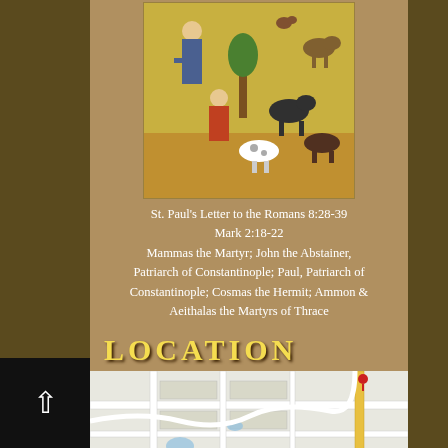[Figure (illustration): Medieval religious icon painting depicting a saint with animals including goats, dogs, and other creatures in a garden or wilderness scene with trees and figures]
St. Paul's Letter to the Romans 8:28-39
Mark 2:18-22
Mammas the Martyr; John the Abstainer, Patriarch of Constantinople; Paul, Patriarch of Constantinople; Cosmas the Hermit; Ammon & Aeithalas the Martyrs of Thrace
LOCATION
[Figure (map): Street map showing Forest Hills neighborhood area with roads and buildings]